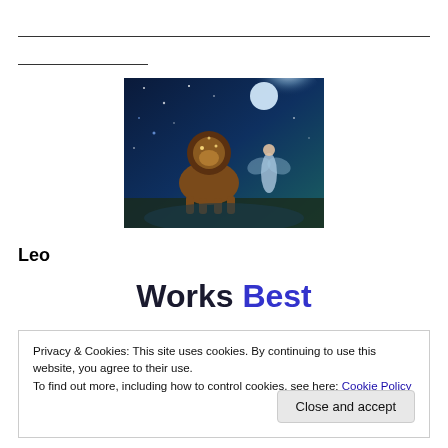[Figure (illustration): Fantasy illustration of a lion with glowing stars and a fairy/spirit figure in a moonlit blue night sky scene]
Leo
Works Best
Privacy & Cookies: This site uses cookies. By continuing to use this website, you agree to their use.
To find out more, including how to control cookies, see here: Cookie Policy